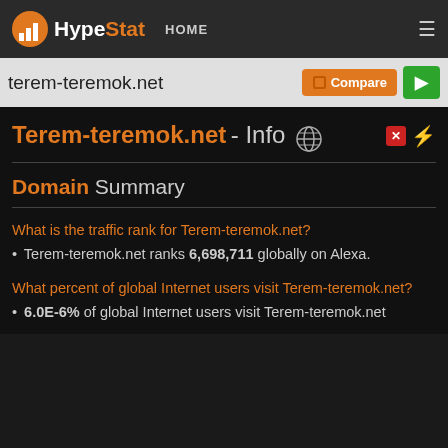HypeStat HOME
terem-teremok.net
Terem-teremok.net - Info
Domain Summary
What is the traffic rank for Terem-teremok.net?
Terem-teremok.net ranks 6,698,711 globally on Alexa.
What percent of global Internet users visit Terem-teremok.net?
6.0E-6% of global Internet users visit Terem-teremok.net